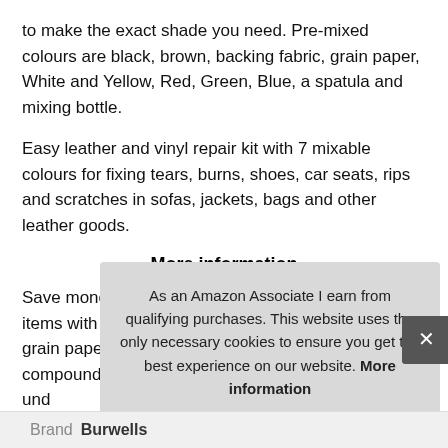to make the exact shade you need. Pre-mixed colours are black, brown, backing fabric, grain paper, White and Yellow, Red, Green, Blue, a spatula and mixing bottle.
Easy leather and vinyl repair kit with 7 mixable colours for fixing tears, burns, shoes, car seats, rips and scratches in sofas, jackets, bags and other leather goods.
More information
Save money on costly repairs and restore expensive items with this clever repair kit. Simply choose the grain paper you want to transfer the pattern onto, mix compound to the right colo[r] ... und[er] ... viny[l]
As an Amazon Associate I earn from qualifying purchases. This website uses the only necessary cookies to ensure you get the best experience on our website. More information
| Brand |
| --- |
| Burwells |